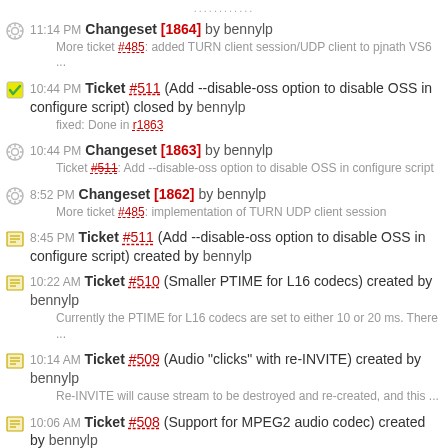11:14 PM Changeset [1864] by bennylp
More ticket #485: added TURN client session/UDP client to pjnath VS6 ...
10:44 PM Ticket #511 (Add --disable-oss option to disable OSS in configure script) closed by bennylp
fixed: Done in r1863
10:44 PM Changeset [1863] by bennylp
Ticket #511: Add --disable-oss option to disable OSS in configure script
8:52 PM Changeset [1862] by bennylp
More ticket #485: implementation of TURN UDP client session
8:45 PM Ticket #511 (Add --disable-oss option to disable OSS in configure script) created by bennylp
10:22 AM Ticket #510 (Smaller PTIME for L16 codecs) created by bennylp
Currently the PTIME for L16 codecs are set to either 10 or 20 ms. There ...
10:14 AM Ticket #509 (Audio "clicks" with re-INVITE) created by bennylp
Re-INVITE will cause stream to be destroyed and re-created, and this ...
10:06 AM Ticket #508 (Support for MPEG2 audio codec) created by bennylp
9:53 AM Ticket #507 (G.722 codec implementation and support) created by bennylp
Implement an experimental G.722 codec in pjmedia-codec. We'll just